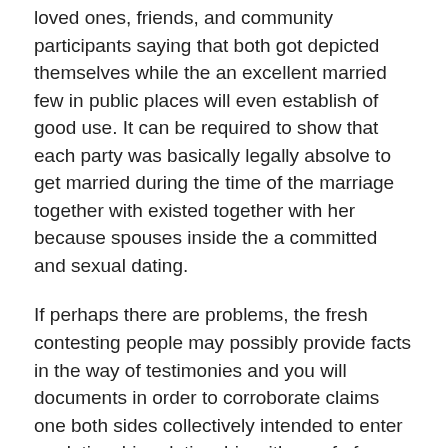loved ones, friends, and community participants saying that both got depicted themselves while the an excellent married few in public places will even establish of good use. It can be required to show that each party was basically legally absolve to get married during the time of the marriage together with existed together with her because spouses inside the a committed and sexual dating.
If perhaps there are problems, the fresh contesting people may possibly provide facts in the way of testimonies and you will documents in order to corroborate claims one both sides collectively intended to enter a relationship relationship with proof of mutual assistance and duty. Research may include records, contracts, certificates, pictures, and you may letters showing: